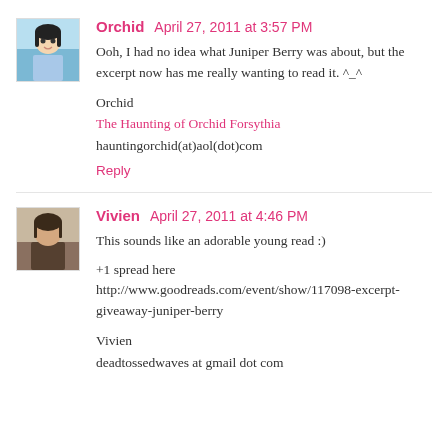[Figure (illustration): Avatar image of Orchid commenter - anime style girl illustration]
Orchid  April 27, 2011 at 3:57 PM
Ooh, I had no idea what Juniper Berry was about, but the excerpt now has me really wanting to read it. ^_^
Orchid
The Haunting of Orchid Forsythia
hauntingorchid(at)aol(dot)com
Reply
[Figure (photo): Avatar photo of Vivien commenter - appears to be a person photo]
Vivien  April 27, 2011 at 4:46 PM
This sounds like an adorable young read :)
+1 spread here
http://www.goodreads.com/event/show/117098-excerpt-giveaway-juniper-berry
Vivien
deadtossedwaves at gmail dot com